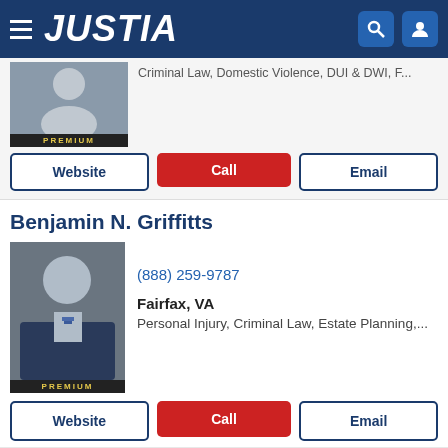JUSTIA
Criminal Law, Domestic Violence, DUI & DWI, F...
Website  Call  Email
Benjamin N. Griffitts
[Figure (photo): Headshot of Benjamin N. Griffitts, a man in a suit with a tie, PREMIUM badge below]
(888) 259-9787
Fairfax, VA
Personal Injury, Criminal Law, Estate Planning,...
Website  Call  Email
Christian Campbell
[Figure (photo): Headshot of Christian Campbell, a man in professional attire]
(703) 854-1081
Falls Church, VA